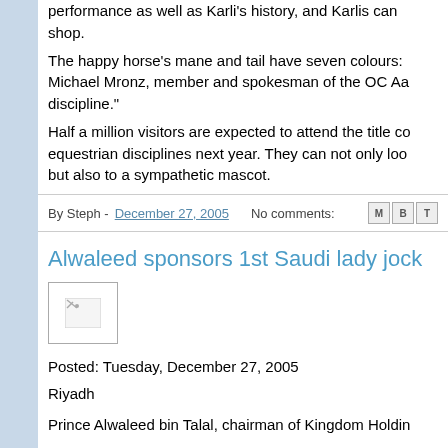performance as well as Karli's history, and Karlis can shop.
The happy horse's mane and tail have seven colours: Michael Mronz, member and spokesman of the OC Aa discipline."
Half a million visitors are expected to attend the title co equestrian disciplines next year. They can not only loo but also to a sympathetic mascot.
By Steph - December 27, 2005   No comments:
Alwaleed sponsors 1st Saudi lady jock
[Figure (photo): Small image placeholder with broken image icon]
Posted: Tuesday, December 27, 2005
Riyadh
Prince Alwaleed bin Talal, chairman of Kingdom Holdin